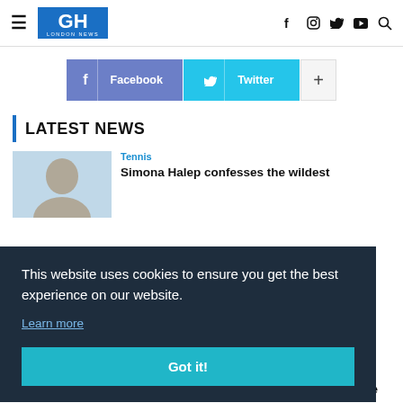GH LONDON NEWS
[Figure (screenshot): Social share buttons row: Facebook (blue-grey), Twitter (cyan), plus button (white)]
LATEST NEWS
[Figure (photo): Thumbnail of person (appears to be Simona Halep)]
Tennis
Simona Halep confesses the wildest
This website uses cookies to ensure you get the best experience on our website.
Learn more
Got it!
[Figure (photo): Thumbnail image (bottom news item, dark/sports photo)]
from Zhang Zhilei, gets nod